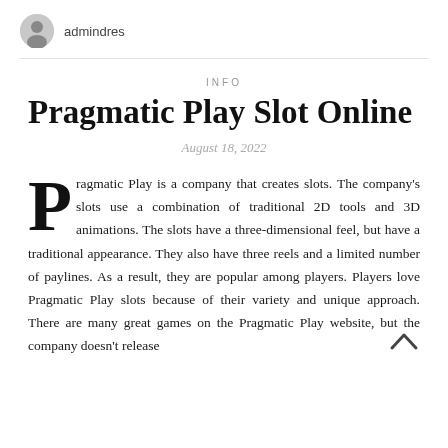admindres
INFO
Pragmatic Play Slot Online
August 18, 2022
Pragmatic Play is a company that creates slots. The company's slots use a combination of traditional 2D tools and 3D animations. The slots have a three-dimensional feel, but have a traditional appearance. They also have three reels and a limited number of paylines. As a result, they are popular among players. Players love Pragmatic Play slots because of their variety and unique approach. There are many great games on the Pragmatic Play website, but the company doesn't release